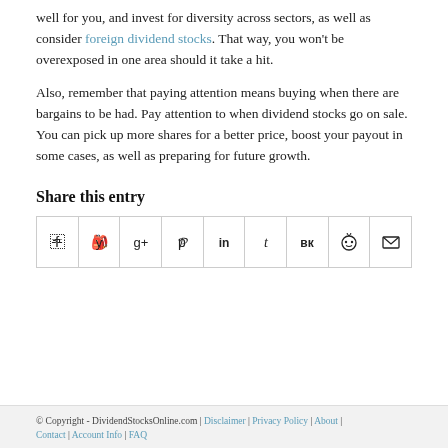well for you, and invest for diversity across sectors, as well as consider foreign dividend stocks. That way, you won't be overexposed in one area should it take a hit.
Also, remember that paying attention means buying when there are bargains to be had. Pay attention to when dividend stocks go on sale. You can pick up more shares for a better price, boost your payout in some cases, as well as preparing for future growth.
Share this entry
[Figure (other): Social sharing icons row: Facebook, Twitter, Google+, Pinterest, LinkedIn, Tumblr, VKontakte, Reddit, Email]
© Copyright - DividendStocksOnline.com | Disclaimer | Privacy Policy | About | Contact | Account Info | FAQ